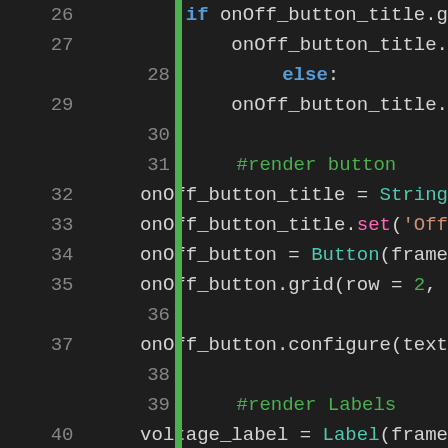[Figure (screenshot): Python source code snippet showing lines 26-45 of a tkinter GUI script with syntax highlighting. Dark background with colored keywords, comments, strings, and numbers. A green vertical bar separates line numbers from code.]